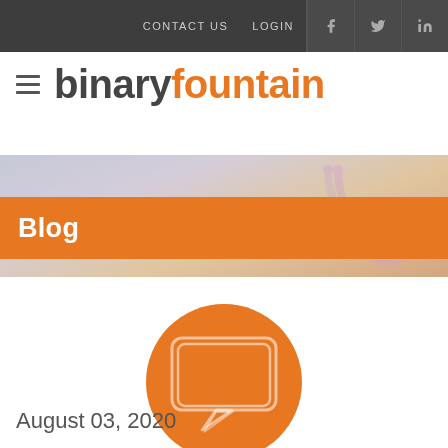CONTACT US   LOGIN
binary fountain
Blog
[Figure (illustration): Orange circle with white speech bubble / chat icon in the center]
August 03, 2020